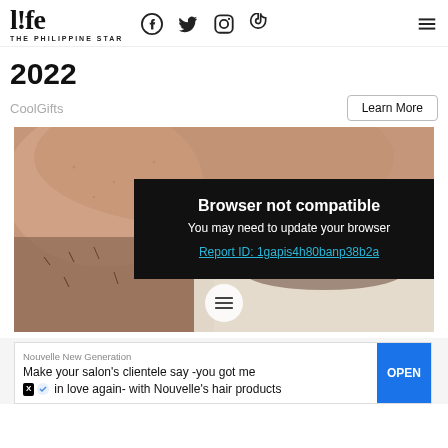life THE PHILIPPINE STAR — Facebook, Twitter, Instagram, TikTok, Menu icons
2022
CoolGifts
Learn More
[Figure (photo): Close-up photo of a person's face (mouth area showing teeth and stubble/beard). A dark overlay modal appears on top with 'Browser not compatible' message, sub-text 'You may need to update your browser', and a link 'Report ID: 1gapis4h80banp38b2a'. A hamburger menu button is visible at the bottom center of the image.]
Nouvelle New Generation
Make your salon's clientele say -you got me in love again- with Nouvelle's hair products
OPEN